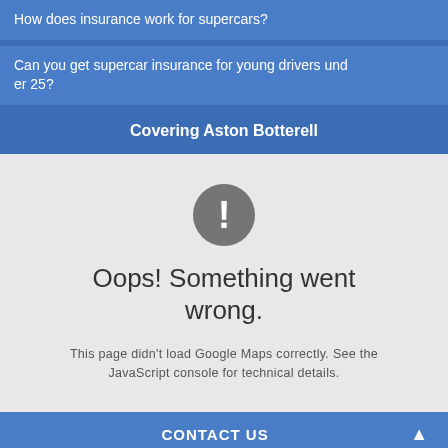How does insurance work for supercars?
Can you get supercar insurance for young drivers under 25?
Covering Aston Botterell
[Figure (screenshot): Google Maps error screen with exclamation icon, 'Oops! Something went wrong.' heading, and error message: 'This page didn't load Google Maps correctly. See the JavaScript console for technical details.']
CONTACT US